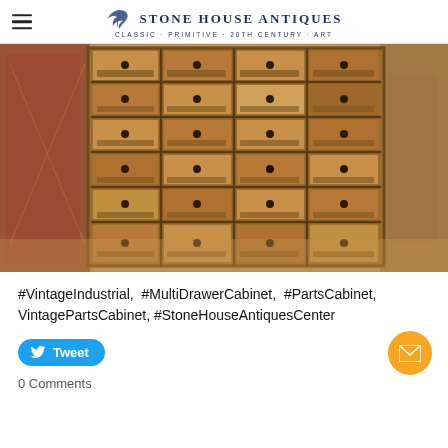Stone House Antiques — Classic · Primitive · 20th Century · Art
[Figure (photo): A vintage industrial multi-drawer wooden parts cabinet with many small drawers fitted with black metal knobs and label holders, photographed in an antique shop setting.]
#VintageIndustrial, #MultiDrawerCabinet, #PartsCabinet, VintagePartsCabinet, #StoneHouseAntiquesCenter
Tweet
0 Comments